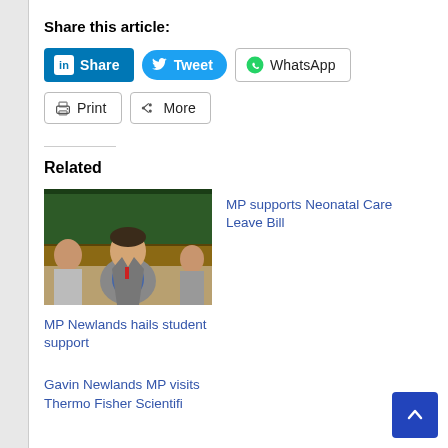Share this article:
[Figure (infographic): Social share buttons: LinkedIn Share, Tweet, WhatsApp, Print, More]
Related
[Figure (photo): Man in grey suit sitting in a parliamentary chamber with green leather benches]
MP Newlands hails student support
MP supports Neonatal Care Leave Bill
Gavin Newlands MP visits Thermo Fisher Scientifi